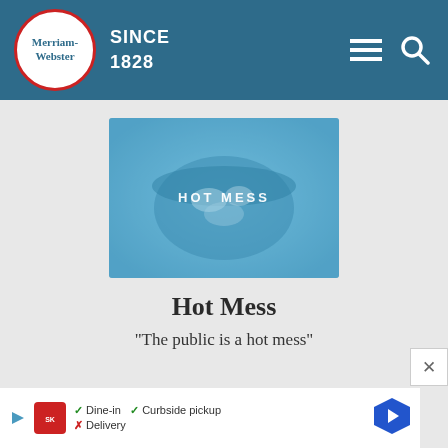[Figure (logo): Merriam-Webster logo with circular red-bordered emblem and SINCE 1828 text in teal header bar with hamburger menu and search icons]
[Figure (photo): Blue-tinted overhead photo of a pot of food with text HOT MESS overlaid in white uppercase letters]
Hot Mess
"The public is a hot mess"
WORD GAMES
[Figure (screenshot): Advertisement banner for Smoothie King showing dine-in, curbside pickup, and delivery options with navigation arrow icon]